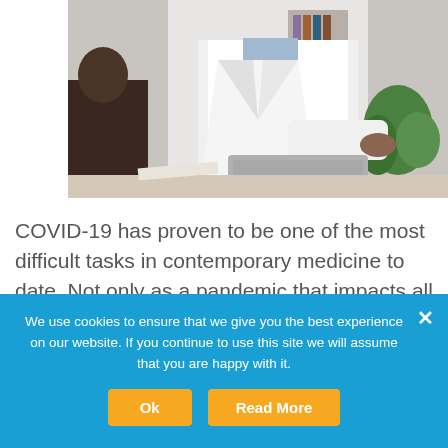[Figure (photo): Photo of a doctor in a white coat consulting with a patient, holding a laptop, with bookshelves and a plant in the background]
COVID-19 has proven to be one of the most difficult tasks in contemporary medicine to date. Not only as a pandemic that impacts all health professionals' daily work around the world, but also in terms of long-term effects for their patients. A long COVID resource for
We use cookies to ensure that we give you the best experience on our website. If you continue to use this site we will assume that you are happy with it.